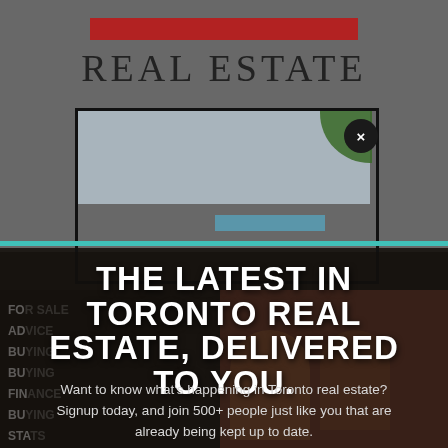[Figure (screenshot): Screenshot of a real estate website background with a brick building photograph, partially visible navigation items on the left side, and a popup modal overlay. The website header shows 'REAL ESTATE' in serif font with a red bar above it. A modal dialog with a close (X) button overlays the content.]
THE LATEST IN TORONTO REAL ESTATE, DELIVERED TO YOU.
Want to know what's happening in Toronto real estate? Signup today, and join 500+ people just like you that are already being kept up to date.